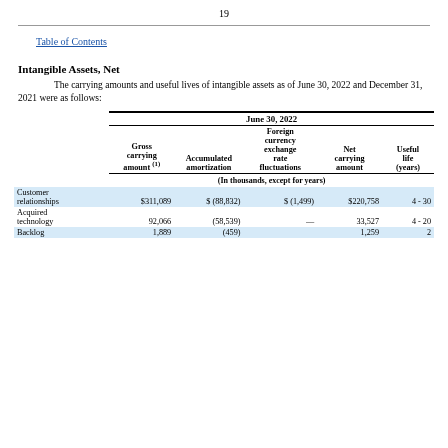19
Table of Contents
Intangible Assets, Net
The carrying amounts and useful lives of intangible assets as of June 30, 2022 and December 31, 2021 were as follows:
|  | Gross carrying amount (1) | Accumulated amortization | Foreign currency exchange rate fluctuations | Net carrying amount | Useful life (years) |
| --- | --- | --- | --- | --- | --- |
|  | June 30, 2022 |  |  |  |  |
|  | (In thousands, except for years) |  |  |  |  |
| Customer relationships | $311,089 | $ (88,832) | $ (1,499) | $220,758 | 4 - 30 |
| Acquired technology | 92,066 | (58,539) | — | 33,527 | 4 - 20 |
| Backlog | 1,889 | (459) |  | 1,259 | 2 |